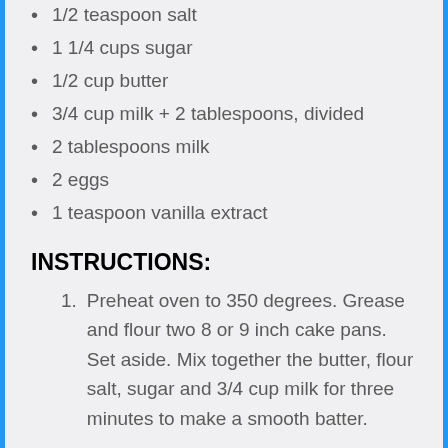1/2 teaspoon salt
1 1/4 cups sugar
1/2 cup butter
3/4 cup milk + 2 tablespoons, divided
2 tablespoons milk
2 eggs
1 teaspoon vanilla extract
INSTRUCTIONS:
Preheat oven to 350 degrees. Grease and flour two 8 or 9 inch cake pans. Set aside. Mix together the butter, flour salt, sugar and 3/4 cup milk for three minutes to make a smooth batter.
Add the two eggs, vanilla and the last 2 tablespoons of milk. Beat for an additional 2